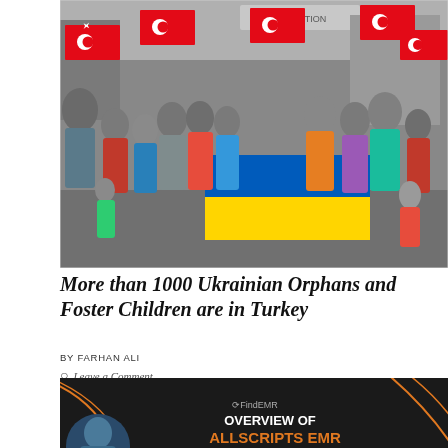[Figure (photo): Group of children and adults waving Turkish flags and holding a Ukrainian flag inside what appears to be a hotel lobby or reception hall]
More than 1000 Ukrainian Orphans and Foster Children are in Turkey
BY FARHAN ALI
Leave a Comment
[Figure (infographic): Dark background infographic with orange circular design elements, FindEMR logo, text reading 'OVERVIEW OF ALLSCRIPTS EMR' partially visible]